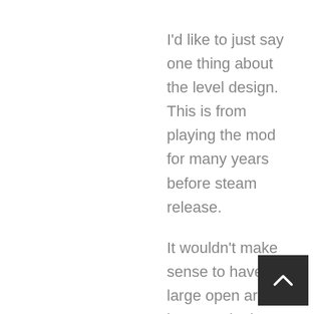I'd like to just say one thing about the level design. This is from playing the mod for many years before steam release.
It wouldn't make sense to have large open areas, because in the previous game the zombies are slow, and tight areas posed a HUGE threat, wide open spaces just gave players room to move around. Large areas on maps had to either have no zombies spawning in or FILLED with zombies that players were forced to clear. If I recall on nms_northway you (level designers) had to set up barricades in the doorways leading to the sections that lead into the